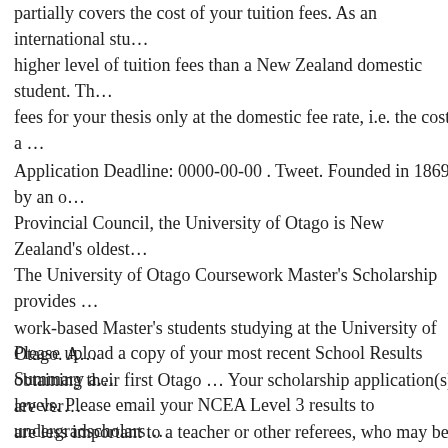partially covers the cost of your tuition fees. As an international stu… higher level of tuition fees than a New Zealand domestic student. Th… fees for your thesis only at the domestic fee rate, i.e. the cost a …
Application Deadline: 0000-00-00 . Tweet. Founded in 1869 by an o… Provincial Council, the University of Otago is New Zealand's oldest… The University of Otago Coursework Master's Scholarship provides … work-based Master's students studying at the University of Otago. A… obtaining their first Otago … Your scholarship application(s) are ver… are less important to a teacher or other referees, who may be focused… fellow students. For these reasons, we suggest giving referees a due d… actual deadline. For example, if your scholarship application on clos…
Please upload a copy of your most recent School Results Summary a… levels. Please email your NCEA Level 3 results to undergradscholars… are applying for a scholarship based on community involvement, spo… or other non-academic factors, make sure you have documentation th… achievements. Request a reference. Think about one or two people w… you a reference to support your scholarship application. These